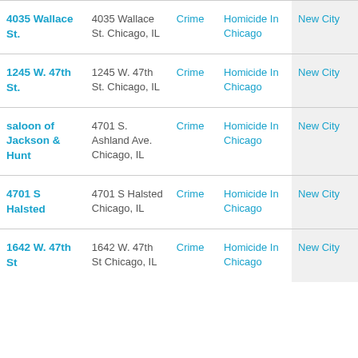| Name | Address | Type | Category | Neighborhood |
| --- | --- | --- | --- | --- |
| 4035 Wallace St. | 4035 Wallace St. Chicago, IL | Crime | Homicide In Chicago | New City |
| 1245 W. 47th St. | 1245 W. 47th St. Chicago, IL | Crime | Homicide In Chicago | New City |
| saloon of Jackson & Hunt | 4701 S. Ashland Ave. Chicago, IL | Crime | Homicide In Chicago | New City |
| 4701 S Halsted | 4701 S Halsted Chicago, IL | Crime | Homicide In Chicago | New City |
| 1642 W. 47th St | 1642 W. 47th St Chicago, IL | Crime | Homicide In Chicago | New City |